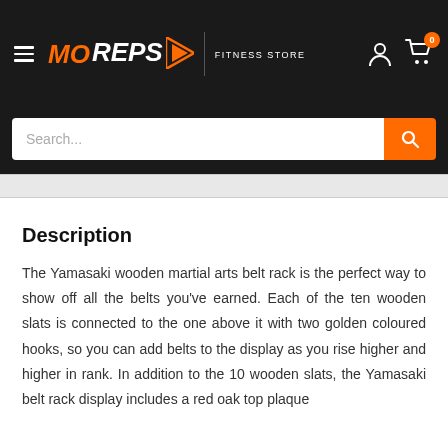[Figure (logo): MO REPS Fitness Store logo with orange text and play button triangle icon, on black background navigation bar with hamburger menu, user account icon, and shopping cart with 0 badge]
[Figure (screenshot): Search bar with placeholder text 'Search...' and orange search button on dark background]
Description
The Yamasaki wooden martial arts belt rack is the perfect way to show off all the belts you've earned. Each of the ten wooden slats is connected to the one above it with two golden coloured hooks, so you can add belts to the display as you rise higher and higher in rank. In addition to the 10 wooden slats, the Yamasaki belt rack display includes a red oak top plaque